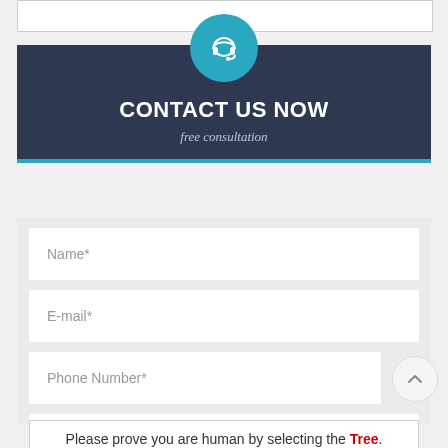[Figure (illustration): Teal circle icon with white headset/headphones symbol representing customer service contact]
CONTACT US NOW
free consultation
Name*
E-mail*
Phone Number*
Zip Code
Please prove you are human by selecting the Tree.